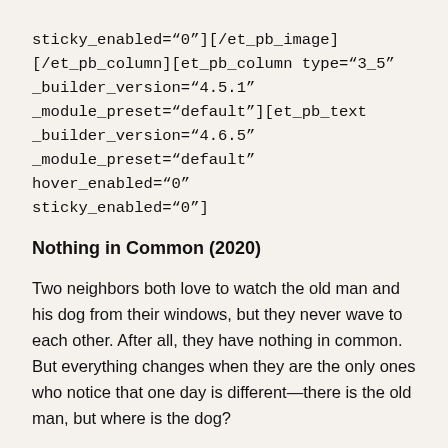sticky_enabled="0"][/et_pb_image] [/et_pb_column][et_pb_column type="3_5" _builder_version="4.5.1" _module_preset="default"][et_pb_text _builder_version="4.6.5" _module_preset="default" hover_enabled="0" sticky_enabled="0"]
Nothing in Common (2020)
Two neighbors both love to watch the old man and his dog from their windows, but they never wave to each other. After all, they have nothing in common. But everything changes when they are the only ones who notice that one day is different—there is the old man, but where is the dog?